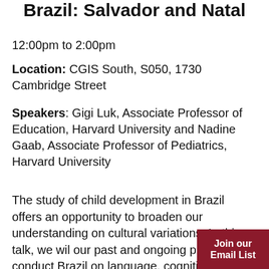Brazil: Salvador and Natal
12:00pm to 2:00pm
Location: CGIS South, S050, 1730 Cambridge Street
Speakers: Gigi Luk, Associate Professor of Education, Harvard University and Nadine Gaab, Associate Professor of Pediatrics, Harvard University
The study of child development in Brazil offers an opportunity to broaden our understanding on cultural variations. In this talk, we will our past and ongoing projects conduct Brazil on language, cognition, and literacy. Their work has focused on using
Join our Email List